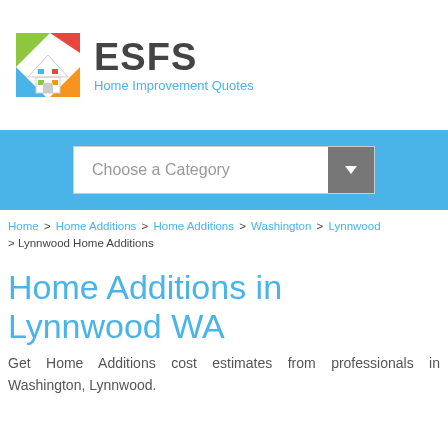[Figure (logo): ESFS Home Improvement Quotes logo with colorful house icon]
[Figure (screenshot): Blue banner with 'Choose a Category' dropdown selector]
Home > Home Additions > Home Additions > Washington > Lynnwood > Lynnwood Home Additions
Home Additions in Lynnwood WA
Get Home Additions cost estimates from professionals in Washington, Lynnwood.